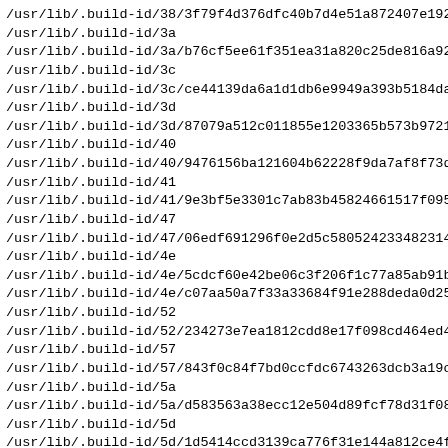/usr/lib/.build-id/38/3f79f4d376dfc40b7d4e51a872407e19285
/usr/lib/.build-id/3a
/usr/lib/.build-id/3a/b76cf5ee61f351ea31a820c25de816a92c0
/usr/lib/.build-id/3c
/usr/lib/.build-id/3c/ce44139da6a1d1db6e9949a393b5184da43
/usr/lib/.build-id/3d
/usr/lib/.build-id/3d/87079a512c011855e1203365b573b972118
/usr/lib/.build-id/40
/usr/lib/.build-id/40/9476156ba121604b62228f9da7af8f73d43
/usr/lib/.build-id/41
/usr/lib/.build-id/41/9e3bf5e3301c7ab83b45824661517f095c4
/usr/lib/.build-id/47
/usr/lib/.build-id/47/06edf691296f0e2d5c58052423348231400
/usr/lib/.build-id/4e
/usr/lib/.build-id/4e/5cdcf60e42be06c3f206f1c77a85ab91b02
/usr/lib/.build-id/4e/c07aa50a7f33a33684f91e288deda0d2571
/usr/lib/.build-id/52
/usr/lib/.build-id/52/234273e7ea1812cdd8e17f098cd464ed4c0
/usr/lib/.build-id/57
/usr/lib/.build-id/57/843f0c84f7bd0ccfdc6743263dcb3a19c0e
/usr/lib/.build-id/5a
/usr/lib/.build-id/5a/d583563a38ecc12e504d89fcf78d31f088c
/usr/lib/.build-id/5d
/usr/lib/.build-id/5d/1d5414ccd3139ca776f31e144a812ce4fdb
/usr/lib/.build-id/5f
/usr/lib/.build-id/5f/3eee38a4c0e32a3f0465981c650c2cb44ca
/usr/lib/.build-id/68
/usr/lib/.build-id/68/fa64c51b1cd99492e98d78b435146342921
/usr/lib/.build-id/69
/usr/lib/.build-id/69/997de8832d0a92cc25e3eca9c88e38449d9